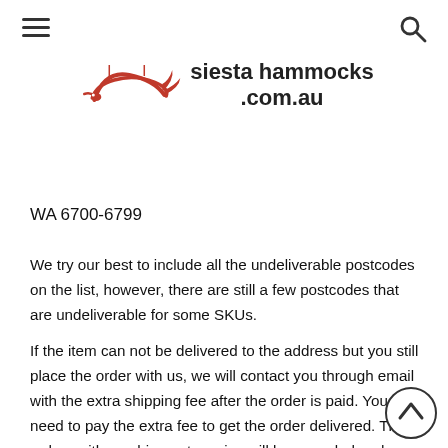[Figure (logo): Siesta Hammocks logo with red bird/hammock illustration and text 'siesta hammocks .com.au']
WA 6700-6799
We try our best to include all the undeliverable postcodes on the list, however, there are still a few postcodes that are undeliverable for some SKUs.
If the item can not be delivered to the address but you still place the order with us, we will contact you through email with the extra shipping fee after the order is paid. You will need to pay the extra fee to get the order delivered. Those orders with no shipment service will be canceled and refunded automatically with email notification.
[Figure (illustration): Scroll-to-top arrow button circle in bottom right corner]